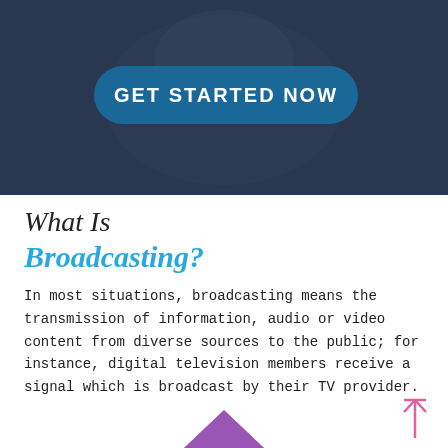[Figure (photo): Dark-toned hero banner with a person in the background, containing a teal 'GET STARTED NOW' button]
What Is Broadcasting?
In most situations, broadcasting means the transmission of information, audio or video content from diverse sources to the public; for instance, digital television members receive a signal which is broadcast by their TV provider.
[Figure (illustration): Pink/purple diamond shape partially visible at the bottom of the page, with a pink scroll-to-top arrow icon in the bottom right corner]